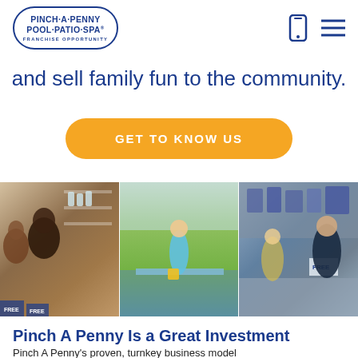[Figure (logo): Pinch A Penny Pool Patio Spa Franchise Opportunity logo in oval border]
[Figure (illustration): Phone icon and hamburger menu icon in dark blue]
and sell family fun to the community.
GET TO KNOW US
[Figure (photo): Three side-by-side photos: left shows a Pinch A Penny store associate helping a customer with water testing; center shows a woman in blue by a pool outdoors; right shows a male associate at a store counter with a customer]
Pinch A Penny Is a Great Investment
Pinch A Penny's proven, turnkey business model